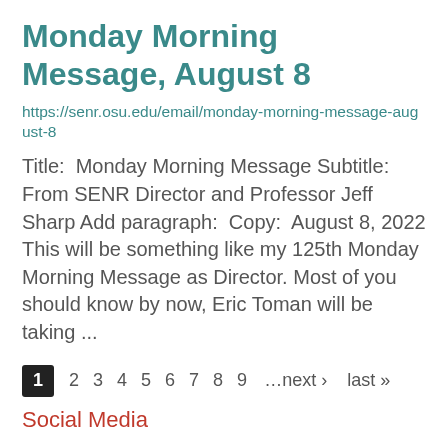Monday Morning Message, August 8
https://senr.osu.edu/email/monday-morning-message-august-8
Title:  Monday Morning Message Subtitle:  From SENR Director and Professor Jeff Sharp Add paragraph:  Copy:  August 8, 2022 This will be something like my 125th Monday Morning Message as Director. Most of you should know by now, Eric Toman will be taking ...
1 2 3 4 5 6 7 8 9 …next › last »
Social Media